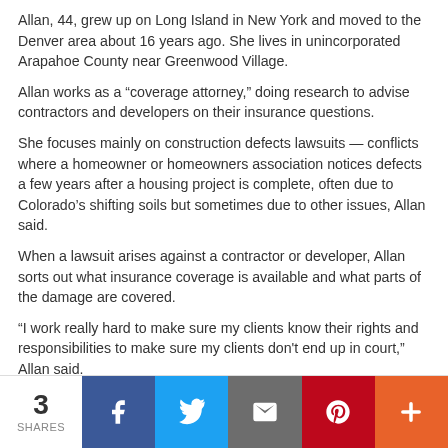Allan, 44, grew up on Long Island in New York and moved to the Denver area about 16 years ago. She lives in unincorporated Arapahoe County near Greenwood Village.
Allan works as a “coverage attorney,” doing research to advise contractors and developers on their insurance questions.
She focuses mainly on construction defects lawsuits — conflicts where a homeowner or homeowners association notices defects a few years after a housing project is complete, often due to Colorado’s shifting soils but sometimes due to other issues, Allan said.
When a lawsuit arises against a contractor or developer, Allan sorts out what insurance coverage is available and what parts of the damage are covered.
“I work really hard to make sure my clients know their rights and responsibilities to make sure my clients don't end up in court,” Allan said.
3 SHARES | Facebook | Twitter | Email | Pinterest | More